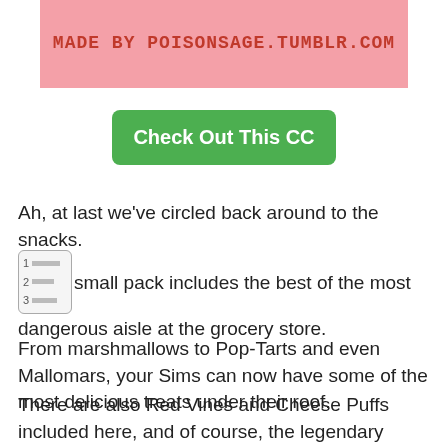[Figure (illustration): Pink banner header with pixelated/retro style text reading 'MADE BY POISONSAGE.TUMBLR.COM' on a pink background]
[Figure (illustration): Green rounded button with white bold text 'Check Out This CC']
Ah, at last we've circled back around to the snacks.
This small pack includes the best of the most dangerous aisle at the grocery store.
From marshmallows to Pop-Tarts and even Mallomars, your Sims can now have some of the most delicious treats under their roof.
There are also Red Vines and Cheese Puffs included here, and of course, the legendary Twinkie.